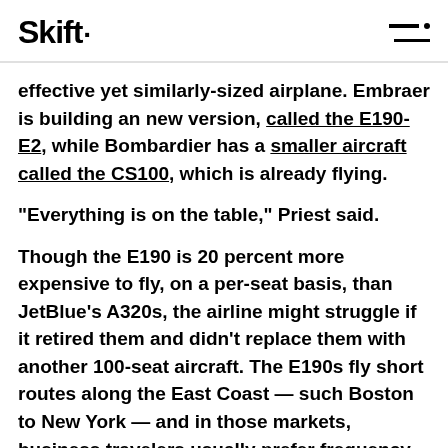Skift
effective yet similarly-sized airplane. Embraer is building an new version, called the E190-E2, while Bombardier has a smaller aircraft called the CS100, which is already flying.
“Everything is on the table,” Priest said.
Though the E190 is 20 percent more expensive to fly, on a per-seat basis, than JetBlue’s A320s, the airline might struggle if it retired them and didn’t replace them with another 100-seat aircraft. The E190s fly short routes along the East Coast — such Boston to New York — and in those markets, business travelers usually prefer frequency. The E190s allow JetBlue to fly more